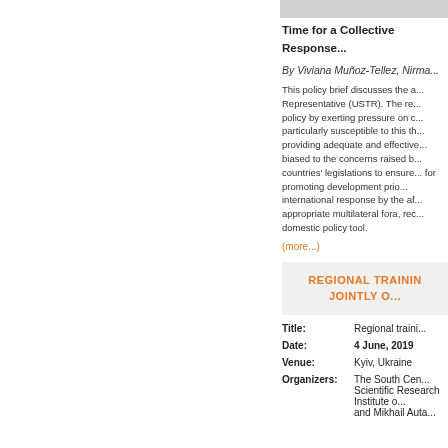Time for a Collective Response...
By Viviana Muñoz-Tellez, Nirma...
This policy brief discusses the a... Representative (USTR). The re... policy by exerting pressure on c... particularly susceptible to this th... providing adequate and effective... biased to the concerns raised b... countries' legislations to ensure... for promoting development prio... international response by the af... appropriate multilateral fora, rec... domestic policy tool.
(more...)
REGIONAL TRAINING... JOINTLY O...
Title: Regional traini...
Date: 4 June, 2019
Venue: Kyiv, Ukraine
Organizers: The South Cen... Scientific Research Institute o...